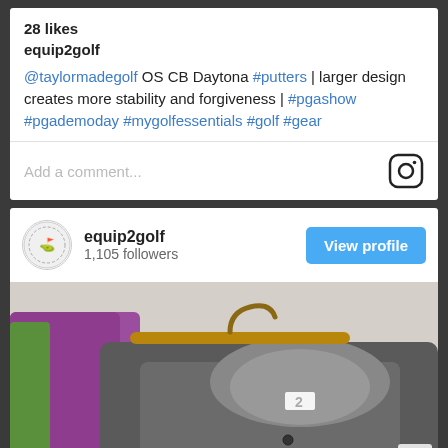28 likes
equip2golf
@taylormadegolf OS CB Daytona #putters | larger design creates more stability and forgiveness | #pgashow #pgademoday #mygolfessentials #golf #gear
Add a comment...
equip2golf
1,105 followers
View profile
[Figure (photo): Close-up photo of a gray golf polo shirt on a wooden hanger, with purple and green shirts visible in the background]